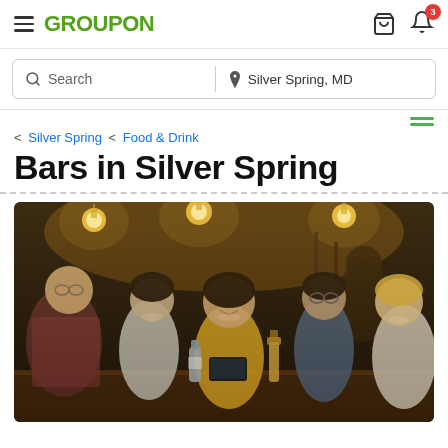GROUPON — Silver Spring, MD
Search | Silver Spring, MD
< Silver Spring < Food & Drink
Bars in Silver Spring
[Figure (photo): Group of young adults laughing and looking at a phone at a bar with warm Edison bulb lighting and drinks on the table]